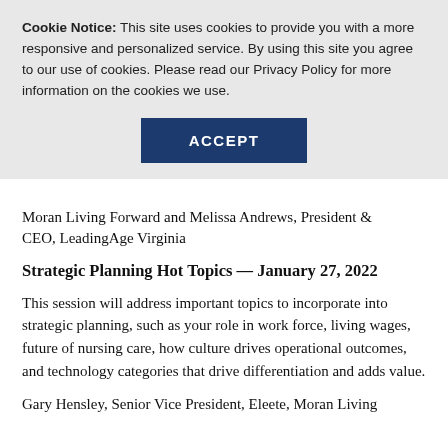Cookie Notice: This site uses cookies to provide you with a more responsive and personalized service. By using this site you agree to our use of cookies. Please read our Privacy Policy for more information on the cookies we use.
[Figure (other): ACCEPT button — dark navy blue rectangular button with white bold uppercase text]
Moran Living Forward and Melissa Andrews, President & CEO, LeadingAge Virginia
Strategic Planning Hot Topics — January 27, 2022
This session will address important topics to incorporate into strategic planning, such as your role in work force, living wages, future of nursing care, how culture drives operational outcomes, and technology categories that drive differentiation and adds value.
Gary Hensley, Senior Vice President, Eleete, Moran Livin...